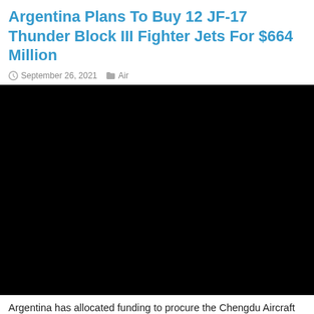Argentina Plans To Buy 12 JF-17 Thunder Block III Fighter Jets For $664 Million
September 26, 2021  Air
[Figure (photo): Black image placeholder for a video or photo of the JF-17 Thunder Block III fighter jet]
Argentina has allocated funding to procure the Chengdu Aircraft Corporation (CAC)/ Pakistan Aeronautical Complex FC-1/JF-17 in the